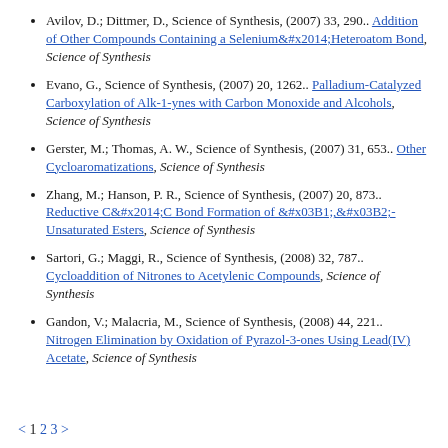Avilov, D.; Dittmer, D., Science of Synthesis, (2007) 33, 290.. Addition of Other Compounds Containing a Selenium&#x2014;Heteroatom Bond, Science of Synthesis
Evano, G., Science of Synthesis, (2007) 20, 1262.. Palladium-Catalyzed Carboxylation of Alk-1-ynes with Carbon Monoxide and Alcohols, Science of Synthesis
Gerster, M.; Thomas, A. W., Science of Synthesis, (2007) 31, 653.. Other Cycloaromatizations, Science of Synthesis
Zhang, M.; Hanson, P. R., Science of Synthesis, (2007) 20, 873.. Reductive C&#x2014;C Bond Formation of &#x03B1;,&#x03B2;-Unsaturated Esters, Science of Synthesis
Sartori, G.; Maggi, R., Science of Synthesis, (2008) 32, 787.. Cycloaddition of Nitrones to Acetylenic Compounds, Science of Synthesis
Gandon, V.; Malacria, M., Science of Synthesis, (2008) 44, 221.. Nitrogen Elimination by Oxidation of Pyrazol-3-ones Using Lead(IV) Acetate, Science of Synthesis
< 1 2 3 >